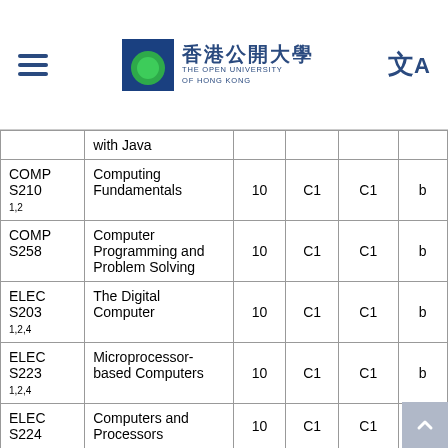香港公開大學 THE OPEN UNIVERSITY OF HONG KONG
| Course Code | Course Name | Credits | Col1 | Col2 | Col3 |
| --- | --- | --- | --- | --- | --- |
|  | with Java |  |  |  |  |
| COMPS210 1,2 | Computing Fundamentals | 10 | C1 | C1 | b |
| COMPS258 | Computer Programming and Problem Solving | 10 | C1 | C1 | b |
| ELECS203 1,2,4 | The Digital Computer | 10 | C1 | C1 | b |
| ELECS223 1,2,4 | Microprocessor-based Computers | 10 | C1 | C1 | b |
| ELECS224 | Computers and Processors | 10 | C1 | C1 | b |